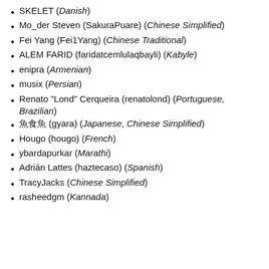SKELET (Danish)
Mo_der Steven (SakuraPuare) (Chinese Simplified)
Fei Yang (Fei1Yang) (Chinese Traditional)
ALEM FARID (faridatcemlulaqbayli) (Kabyle)
enipra (Armenian)
musix (Persian)
Renato "Lond" Cerqueira (renatolond) (Portuguese, Brazilian)
魚食 (gyara) (Japanese, Chinese Simplified)
Hougo (hougo) (French)
ybardapurkar (Marathi)
Adrián Lattes (haztecaso) (Spanish)
TracyJacks (Chinese Simplified)
rasheedgm (Kannada)